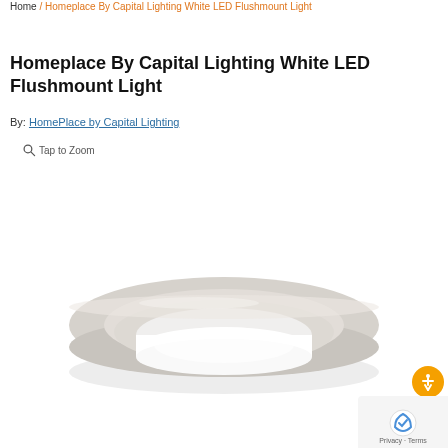Home / Homeplace By Capital Lighting White LED Flushmount Light
Homeplace By Capital Lighting White LED Flushmount Light
By: HomePlace by Capital Lighting
Tap to Zoom
[Figure (photo): A white LED flushmount ceiling light fixture with a wide circular base/trim and a round white diffuser globe in the center, photographed from a slightly elevated angle on a white background.]